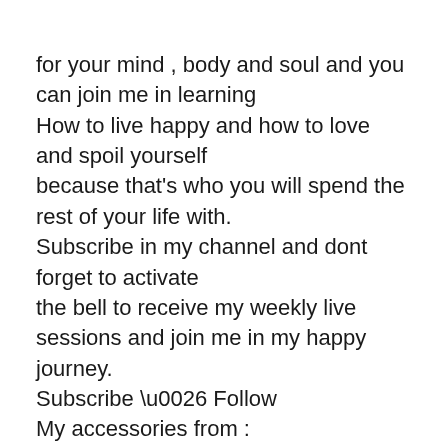for your mind , body and soul and you can join me in learning
How to live happy and how to love and spoil yourself
because that's who you will spend the rest of your life with.
Subscribe in my channel and dont forget to activate
the bell to receive my weekly live sessions and join me in my happy journey.
Subscribe \u0026 Follow
My accessories from : www.fucheetah.com
:))))))))))))))))))))))))
Dont forget to subscribe in my channel and activate the bell :))
Dont hesitate to drop any question and i will